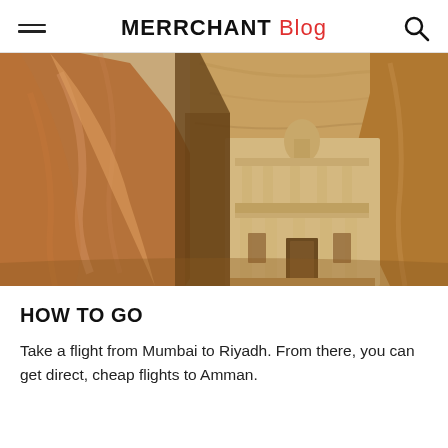MERRCHANT Blog
[Figure (photo): View of the Treasury (Al-Khazneh) at Petra, Jordan, seen through a narrow canyon slot with warm orange sandstone walls in the foreground and the ornate carved facade visible in the center distance.]
HOW TO GO
Take a flight from Mumbai to Riyadh. From there, you can get direct, cheap flights to Amman.